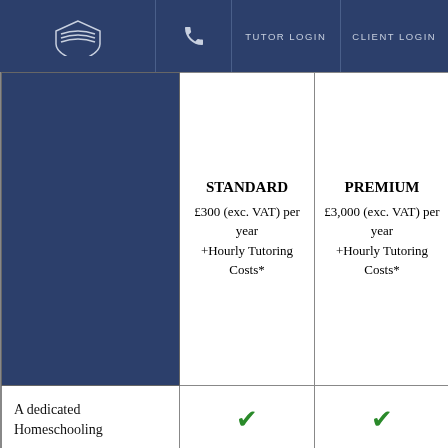TUTOR LOGIN | CLIENT LOGIN
|  | STANDARD £300 (exc. VAT) per year +Hourly Tutoring Costs* | PREMIUM £3,000 (exc. VAT) per year +Hourly Tutoring Costs* |
| --- | --- | --- |
| A dedicated Homeschooling | ✓ | ✓ |
By continuing to browse www.keystonetutors.com or by clicking "Accept and Close", you agree to the use of cookies on your device for analytical purposes and to enhance your experience on our site. To learn more about our use of cookies, please visit our Privacy Notice.
ACCEPT AND CLOSE